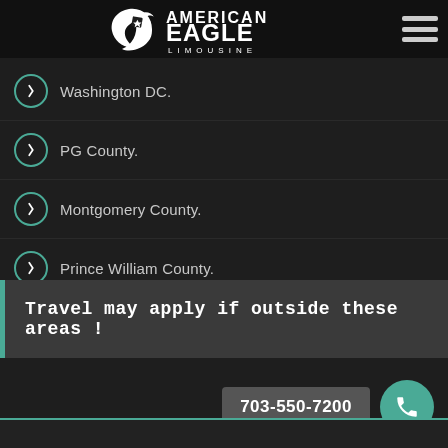[Figure (logo): American Eagle Limousine logo with eagle graphic and text]
Washington DC.
PG County.
Montgomery County.
Prince William County.
Fairfax County.
Travel may apply if outside these areas !
703-550-7200